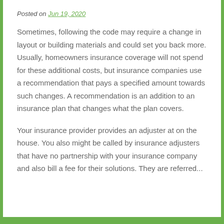Posted on Jun 19, 2020
Sometimes, following the code may require a change in layout or building materials and could set you back more. Usually, homeowners insurance coverage will not spend for these additional costs, but insurance companies use a recommendation that pays a specified amount towards such changes. A recommendation is an addition to an insurance plan that changes what the plan covers.
Your insurance provider provides an adjuster at on the house. You also might be called by insurance adjusters that have no partnership with your insurance company and also bill a fee for their solutions. They are referred...